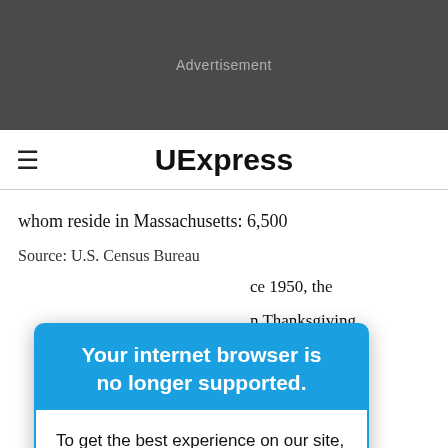[Figure (other): Advertisement banner (dark gray background with 'Advertisement' text)]
≡  UExpress
whom reside in Massachusetts: 6,500
Source: U.S. Census Bureau
[Figure (screenshot): Browser warning modal overlay with blue header reading 'Your internet browser is no longer supported.' and white body text 'To get the best experience on our site, we recommend you upgrade to the latest version.']
ce 1950, the
n Thanksgiving,
Tom Brady, Tom
Speed at which a turkey can run: 25 miles per hour